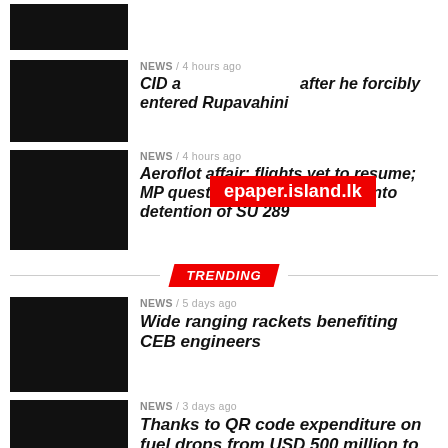[Figure (photo): Dark thumbnail image at top]
NEWS / 4 hours ago
CID a[epaper.island.lk] after he forcibly entered Rupavahini
[Figure (photo): Dark thumbnail image for Aeroflot article]
NEWS / 4 hours ago
Aeroflot affair: flights yet to resume; MP questions status of probe into detention of SU 289
TRENDING
[Figure (photo): Dark thumbnail image for CEB engineers article]
NEWS / 5 days ago
Wide ranging rackets benefiting CEB engineers
[Figure (photo): Dark thumbnail image for QR code article]
NEWS / 3 days ago
Thanks to QR code expenditure on fuel drops from USD 500 million to USD 230 ...